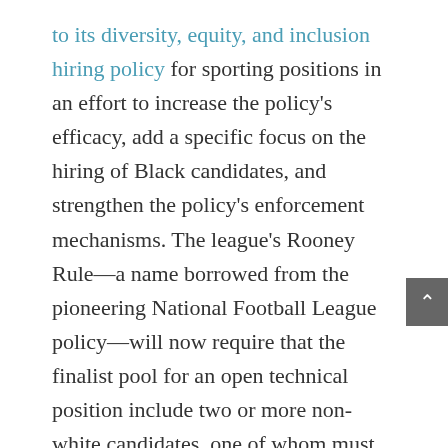to its diversity, equity, and inclusion hiring policy for sporting positions in an effort to increase the policy's efficacy, add a specific focus on the hiring of Black candidates, and strengthen the policy's enforcement mechanisms. The league's Rooney Rule—a name borrowed from the pioneering National Football League policy—will now require that the finalist pool for an open technical position include two or more non-white candidates, one of whom must be Black/African American. Teams must also demonstrate that the interview process includes candidates with comparable experience to all candidates